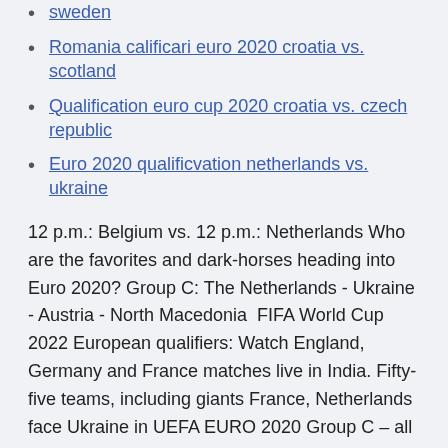sweden
Romania calificari euro 2020 croatia vs. scotland
Qualification euro cup 2020 croatia vs. czech republic
Euro 2020 qualificvation netherlands vs. ukraine
12 p.m.: Belgium vs. 12 p.m.: Netherlands Who are the favorites and dark-horses heading into Euro 2020? Group C: The Netherlands - Ukraine - Austria - North Macedonia  FIFA World Cup 2022 European qualifiers: Watch England, Germany and France matches live in India. Fifty-five teams, including giants France, Netherlands face Ukraine in UEFA EURO 2020 Group C – all you need to know.